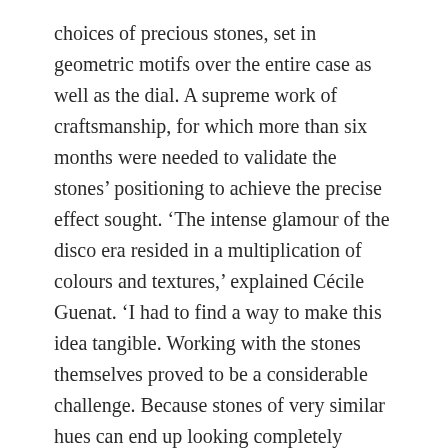choices of precious stones, set in geometric motifs over the entire case as well as the dial. A supreme work of craftsmanship, for which more than six months were needed to validate the stones' positioning to achieve the precise effect sought. 'The intense glamour of the disco era resided in a multiplication of colours and textures,' explained Cécile Guenat. 'I had to find a way to make this idea tangible. Working with the stones themselves proved to be a considerable challenge. Because stones of very similar hues can end up looking completely different depending on their size and the type of setting.' The ten models differ in the arrangement of their stones, their setting pattern, their engraving and the central decoration of the 0,90 mm thickness dial. They